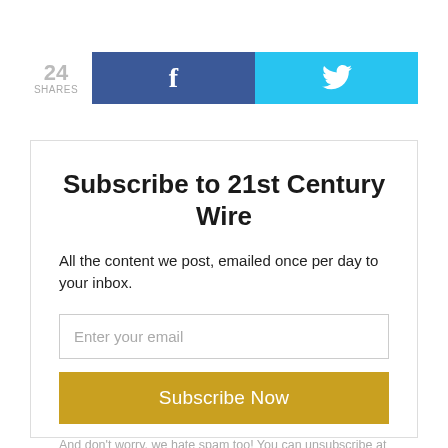[Figure (infographic): Social share bar showing 24 shares, Facebook button (blue) and Twitter button (cyan)]
Subscribe to 21st Century Wire
All the content we post, emailed once per day to your inbox.
Enter your email
Subscribe Now
And don't worry, we hate spam too! You can unsubscribe at anytime.